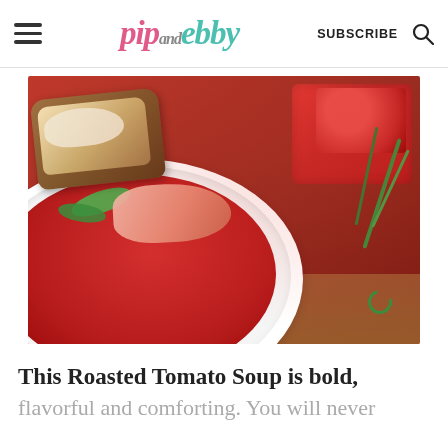pip and ebby — SUBSCRIBE
[Figure (photo): Close-up photo of a white bowl filled with roasted tomato soup, garnished with green herb stems, a piece of bread/crouton, and a slice of ham/meat, on a wooden surface.]
This Roasted Tomato Soup is bold,
flavorful and comforting. You will never